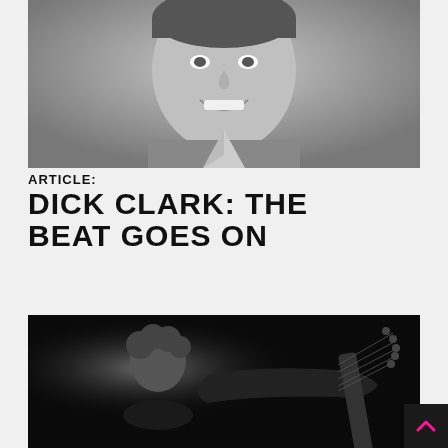[Figure (photo): Black and white portrait photo of Dick Clark, a young man in a suit smiling at the camera]
ARTICLE:
DICK CLARK: THE BEAT GOES ON
[Figure (photo): Black and white concert photo showing a musician with curly hair playing an electric guitar on a dark stage]